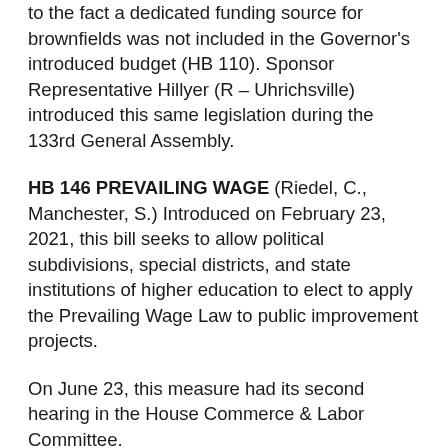to the fact a dedicated funding source for brownfields was not included in the Governor's introduced budget (HB 110). Sponsor Representative Hillyer (R – Uhrichsville) introduced this same legislation during the 133rd General Assembly.
HB 146 PREVAILING WAGE (Riedel, C., Manchester, S.) Introduced on February 23, 2021, this bill seeks to allow political subdivisions, special districts, and state institutions of higher education to elect to apply the Prevailing Wage Law to public improvement projects.
On June 23, this measure had its second hearing in the House Commerce & Labor Committee.
HB 155 LAND USE (Upchurch, T., Smith, M.) Introduced on February 23, 2021, this bill...